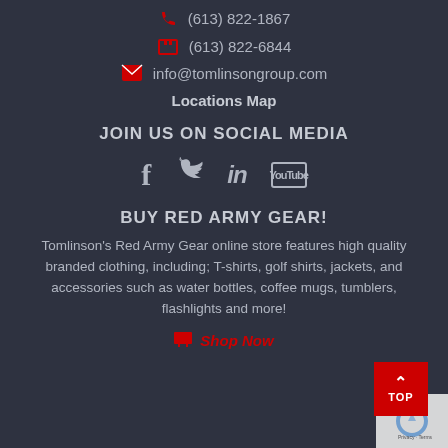(613) 822-1867
(613) 822-6844
info@tomlinsongroup.com
Locations Map
JOIN US ON SOCIAL MEDIA
[Figure (other): Social media icons: Facebook, Twitter, LinkedIn, YouTube]
BUY RED ARMY GEAR!
Tomlinson's Red Army Gear online store features high quality branded clothing, including; T-shirts, golf shirts, jackets, and accessories such as water bottles, coffee mugs, tumblers, flashlights and more!
Shop Now